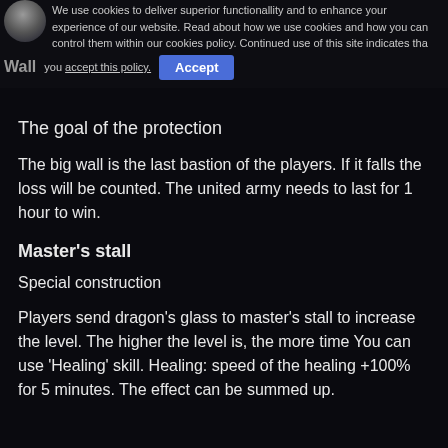[Figure (screenshot): Cookie consent banner overlay at the top of a dark-themed game wiki page, with a partial circular logo/avatar in the top-left corner, cookie policy text, an underlined link 'accept this policy.', and a blue 'Accept' button. Also shows 'Wall' label in grey bold text on the left.]
The goal of the protection
The big wall is the last bastion of the players. If it falls the loss will be counted. The united army needs to last for 1 hour to win.
Master’s stall
Special construction
Players send dragon’s glass to master’s stall to increase the level. The higher the level is, the more time You can use ‘Healing’ skill. Healing: speed of the healing +100% for 5 minutes. The effect can be summed up.